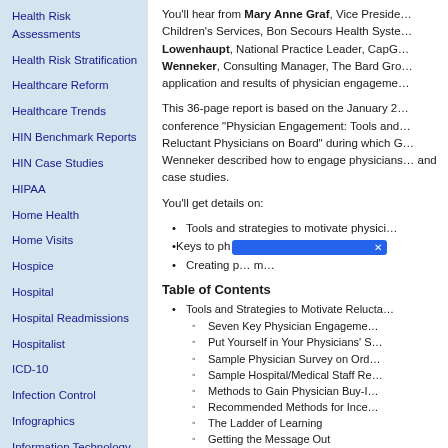Health Risk Assessments
Health Risk Stratification
Healthcare Reform
Healthcare Trends
HIN Benchmark Reports
HIN Case Studies
HIPAA
Home Health
Home Visits
Hospice
Hospital
Hospital Readmissions
Hospitalist
ICD-10
Infection Control
Infographics
Information Technology
Long-Term Care
MACRA
Managed Care
Medicaid
Medical Home
Medical Neighborhood
You'll hear from Mary Anne Graf, Vice President, Children's Services, Bon Secours Health System; Lowenhaupt, National Practice Leader, CapG... Wenneker, Consulting Manager, The Bard Gro... application and results of physician engageme...
This 36-page report is based on the January 2... conference "Physician Engagement: Tools and... Reluctant Physicians on Board" during which G... Wenneker described how to engage physicians... and case studies.
You'll get details on:
Tools and strategies to motivate physici...
Keys to phy...
Creating p... m...
Table of Contents
Tools and Strategies to Motivate Relucta...
Seven Key Physician Engageme...
Put Yourself in Your Physicians' S...
Sample Physician Survey on Ord...
Sample Hospital/Medical Staff Re...
Methods to Gain Physician Buy-I...
Recommended Methods for Ince...
The Ladder of Learning
Getting the Message Out
Five Keys to Physician Engagement